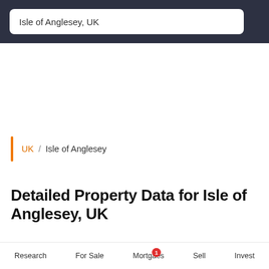Isle of Anglesey, UK
UK / Isle of Anglesey
Detailed Property Data for Isle of Anglesey, UK
Anglesey (Welsh: Ynys Môn) is an island of North Wales in the Irish Sea, forming part of the region also known as Gwynedd. It lies
Research   For Sale   Mortgages   Sell   Invest